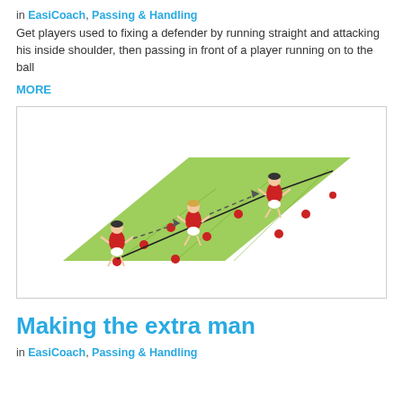in EasiCoach, Passing & Handling
Get players used to fixing a defender by running straight and attacking his inside shoulder, then passing in front of a player running on to the ball
MORE
[Figure (illustration): Rugby coaching drill diagram showing three players in red jerseys on a green field/pitch drawn in perspective. Players are passing a ball (shown with dashed arrow lines) while running along three parallel lanes marked with red dots/cones. The drill illustrates a passing sequence with movement lines.]
Making the extra man
in EasiCoach, Passing & Handling